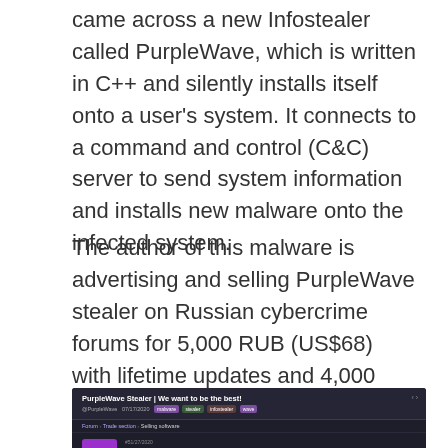came across a new Infostealer called PurpleWave, which is written in C++ and silently installs itself onto a user's system. It connects to a command and control (C&C) server to send system information and installs new malware onto the infected system.
The author of this malware is advertising and selling PurpleWave stealer on Russian cybercrime forums for 5,000 RUB (US$68) with lifetime updates and 4,000 RUB (US$54) with only two updates.
[Figure (screenshot): Screenshot of a dark-themed Russian cybercrime forum post titled 'PurpleWave Stealer | We want to be the best!' showing a forum thread with breadcrumb navigation 'Forum > Trade section > Selling software', a purple avatar with letter P, post controls, a 'DESCRIPTION AND FUNCTIONS' section header, and text 'PurpleWave - a new c++ stealer'.]